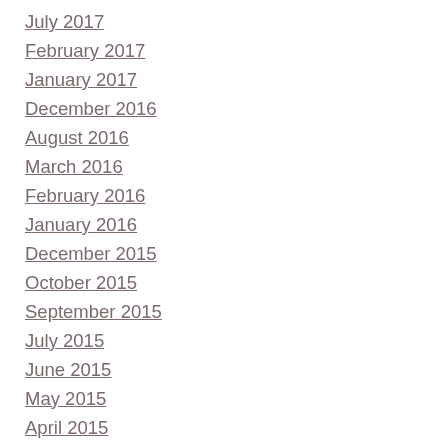July 2017
February 2017
January 2017
December 2016
August 2016
March 2016
February 2016
January 2016
December 2015
October 2015
September 2015
July 2015
June 2015
May 2015
April 2015
March 2015
February 2015
January 2015
December 2014